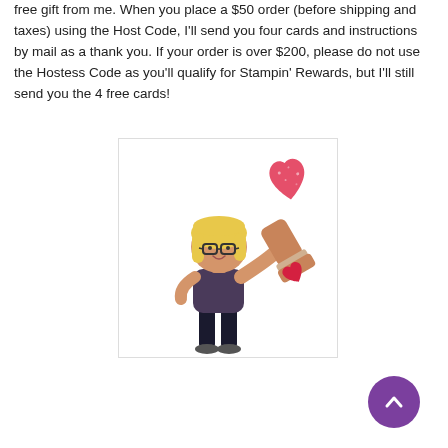free gift from me. When you place a $50 order (before shipping and taxes) using the Host Code, I'll send you four cards and instructions by mail as a thank you. If your order is over $200, please do not use the Hostess Code as you'll qualify for Stampin' Rewards, but I'll still send you the 4 free cards!
[Figure (illustration): Bitmoji-style cartoon illustration of a blonde woman with glasses holding a large rubber stamp with a red heart on it. A red stamped heart shape appears in the upper right of the image. The character is wearing a dark top and black pants.]